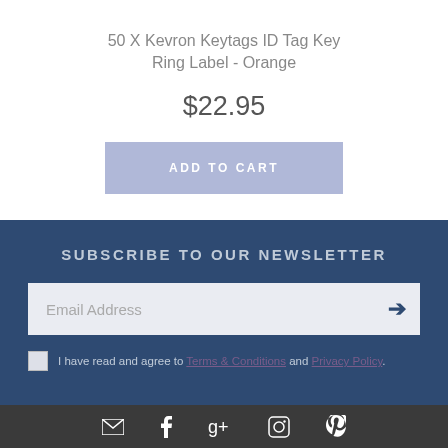50 X Kevron Keytags ID Tag Key Ring Label - Orange
$22.95
ADD TO CART
SUBSCRIBE TO OUR NEWSLETTER
Email Address
I have read and agree to Terms & Conditions and Privacy Policy.
[Figure (other): Social media icons row: email/envelope, Facebook, Google+, Instagram, Pinterest]